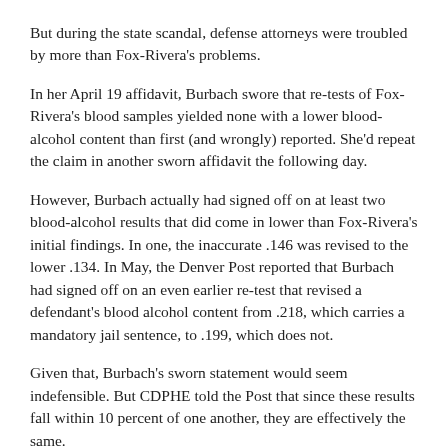But during the state scandal, defense attorneys were troubled by more than Fox-Rivera's problems.
In her April 19 affidavit, Burbach swore that re-tests of Fox-Rivera's blood samples yielded none with a lower blood-alcohol content than first (and wrongly) reported. She'd repeat the claim in another sworn affidavit the following day.
However, Burbach actually had signed off on at least two blood-alcohol results that did come in lower than Fox-Rivera's initial findings. In one, the inaccurate .146 was revised to the lower .134. In May, the Denver Post reported that Burbach had signed off on an even earlier re-test that revised a defendant's blood alcohol content from .218, which carries a mandatory jail sentence, to .199, which does not.
Given that, Burbach's sworn statement would seem indefensible. But CDPHE told the Post that since these results fall within 10 percent of one another, they are effectively the same.
In an e-mail to the Post, Mark Salley, CDPHE's communications director, wrote: "The standard operating procedure for the state lab allows for a 10 percent variation between results when the same sample is run multiple